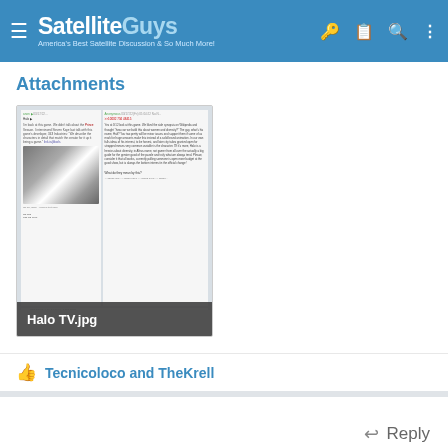SatelliteGuys — America's Best Satellite Discussion & So Much More!
Attachments
[Figure (screenshot): Thumbnail preview of an attached image named 'Halo TV.jpg', showing a screenshot of a forum/imageboard thread discussing the Halo TV series, with a photo of a Halo game character on the left and text on the right.]
Tecnicoloco and TheKrell
Reply